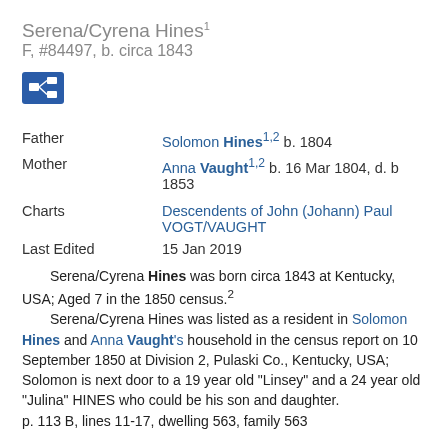Serena/Cyrena Hines¹
F, #84497, b. circa 1843
[Figure (other): Blue icon button with family tree / genealogy symbol]
| Father | Solomon Hines¹·² b. 1804 |
| Mother | Anna Vaught¹·² b. 16 Mar 1804, d. b 1853 |
| Charts | Descendents of John (Johann) Paul VOGT/VAUGHT |
| Last Edited | 15 Jan 2019 |
Serena/Cyrena Hines was born circa 1843 at Kentucky, USA; Aged 7 in the 1850 census.² Serena/Cyrena Hines was listed as a resident in Solomon Hines and Anna Vaught's household in the census report on 10 September 1850 at Division 2, Pulaski Co., Kentucky, USA; Solomon is next door to a 19 year old "Linsey" and a 24 year old "Julina" HINES who could be his son and daughter. p. 113 B, lines 11-17, dwelling 563, family 563